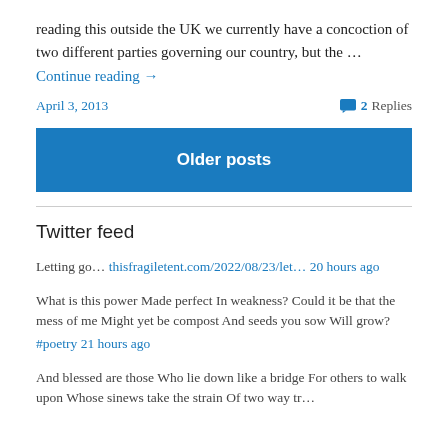reading this outside the UK we currently have a concoction of two different parties governing our country, but the … Continue reading →
April 3, 2013
2 Replies
Older posts
Twitter feed
Letting go… thisfragiletent.com/2022/08/23/let… 20 hours ago
What is this power Made perfect In weakness? Could it be that the mess of me Might yet be compost And seeds you sow Will grow? #poetry 21 hours ago
And blessed are those Who lie down like a bridge For others to walk upon Whose sinews take the strain Of two way tr…